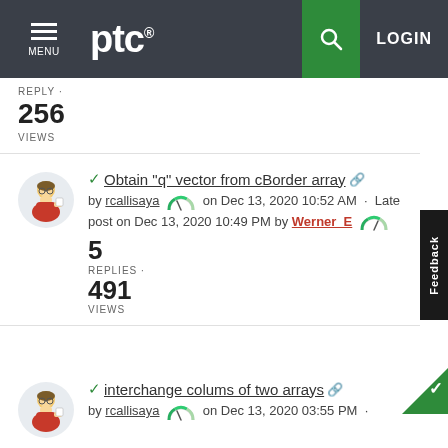PTC — MENU | LOGIN
REPLY
256
VIEWS
Obtain "q" vector from cBorder array — by rcallisaya on Dec 13, 2020 10:52 AM · Latest post on Dec 13, 2020 10:49 PM by Werner_E
5
REPLIES
491
VIEWS
interchange colums of two arrays — by rcallisaya on Dec 13, 2020 03:55 PM